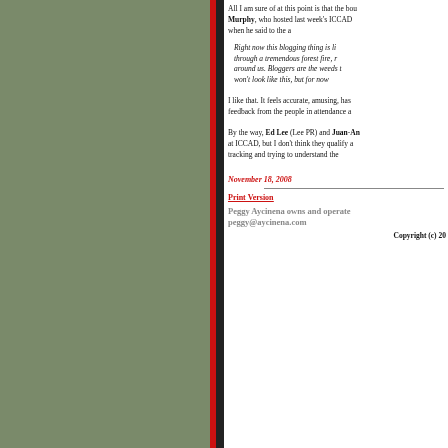All I am sure of at this point is that the bou Murphy, who hosted last week's ICCAD  when he said to the a
Right now this blogging thing is li through a tremendous forest fire, r around us. Bloggers are the weeds t won't look like this, but for now
I like that. It feels accurate, amusing, has feedback from the people in attendance a
By the way, Ed Lee (Lee PR) and Juan-An at ICCAD, but I don't think they qualify a tracking and trying to understand the
November 18, 2008
Print Version
Peggy Aycinena owns and operate peggy@aycinena.com
Copyright (c) 20